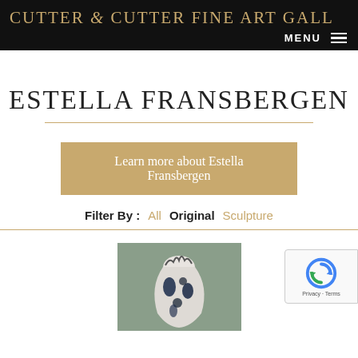CUTTER & CUTTER FINE ART GALLERY
ESTELLA FRANSBERGEN
Learn more about Estella Fransbergen
Filter By :  All  Original  Sculpture
[Figure (photo): Ceramic sculpture artwork, appears to be a decorative vase with blue and black pattern on grey background]